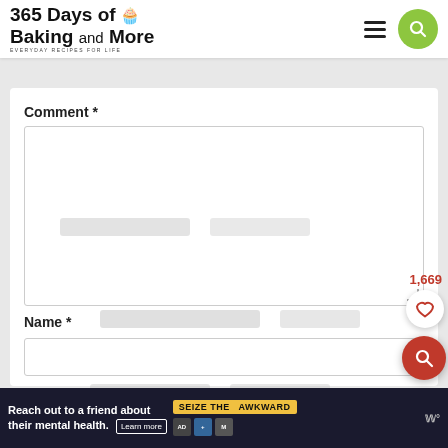365 Days of Baking and More – EVERYDAY RECIPES FOR LIFE
Recipe Rating
Comment *
Name *
Email *
1,669
Reach out to a friend about their mental health. Learn more – SEIZE THE AWKWARD